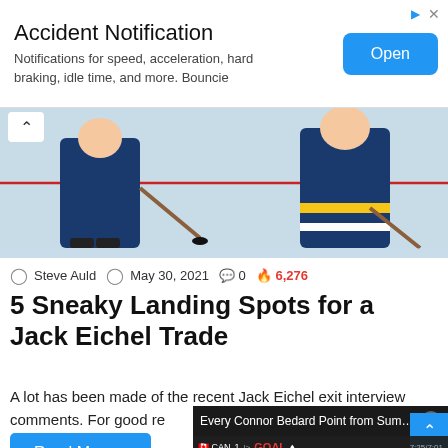[Figure (screenshot): Advertisement banner: Accident Notification app ad with 'Open' button, showing notifications for speed, acceleration, hard braking, idle time, and more. Bouncie.]
[Figure (photo): Ice hockey players on rink, Buffalo Sabres uniforms, skating with sticks and puck visible.]
Steve Auld  May 30, 2021  💬 0  🔥 6,276
5 Sneaky Landing Spots for a Jack Eichel Trade
A lot has been made of the recent Jack Eichel exit interview comments. For good re
Read More »
[Figure (screenshot): Video popup overlay showing 'Every Connor Bedard Point from Summ...' with a hockey player in Canada jersey wearing helmet with cage visor, GOAL banner at top of video frame, mute button visible.]
[Figure (photo): Dark cropped bottom-left image, partially visible hockey content.]